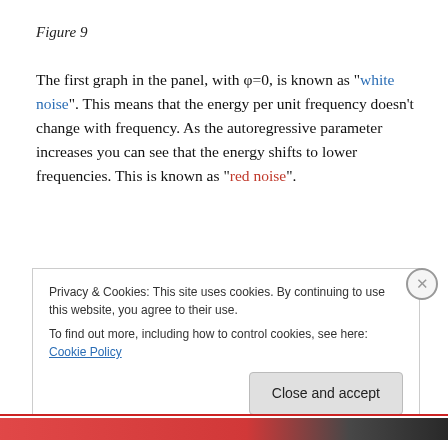Figure 9
The first graph in the panel, with φ=0, is known as "white noise". This means that the energy per unit frequency doesn't change with frequency. As the autoregressive parameter increases you can see that the energy shifts to lower frequencies. This is known as "red noise".
Privacy & Cookies: This site uses cookies. By continuing to use this website, you agree to their use.
To find out more, including how to control cookies, see here: Cookie Policy
Close and accept